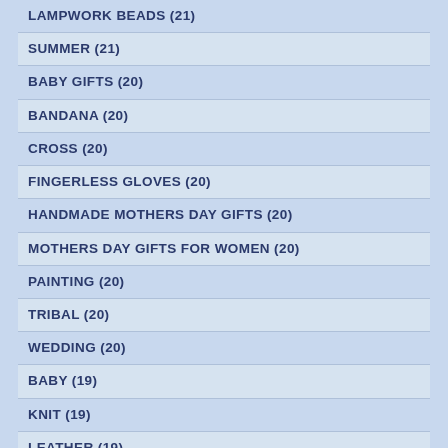LAMPWORK BEADS (21)
SUMMER (21)
BABY GIFTS (20)
BANDANA (20)
CROSS (20)
FINGERLESS GLOVES (20)
HANDMADE MOTHERS DAY GIFTS (20)
MOTHERS DAY GIFTS FOR WOMEN (20)
PAINTING (20)
TRIBAL (20)
WEDDING (20)
BABY (19)
KNIT (19)
LEATHER (19)
MOTHERS DAY GIFTS FOR HER (19)
CROSSES (18)
FLOWER (18)
HANDMADE GIFTS FOR HER (18)